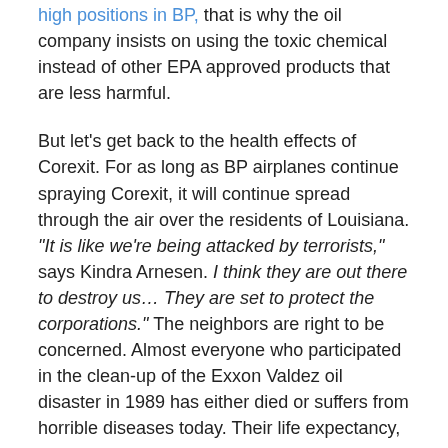high positions in BP, that is why the oil company insists on using the toxic chemical instead of other EPA approved products that are less harmful.
But let’s get back to the health effects of Corexit. For as long as BP airplanes continue spraying Corexit, it will continue spread through the air over the residents of Louisiana. “It is like we’re being attacked by terrorists,” says Kindra Arnesen. I think they are out there to destroy us… They are set to protect the corporations.” The neighbors are right to be concerned. Almost everyone who participated in the clean-up of the Exxon Valdez oil disaster in 1989 has either died or suffers from horrible diseases today. Their life expectancy, after evaluated was set to about 51 years of age.
But why would a government do what the corporations